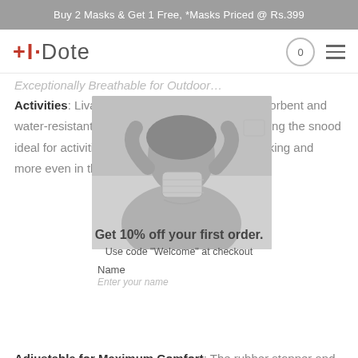Buy 2 Masks & Get 1 Free, *Masks Priced @ Rs.399
[Figure (logo): I·Dote brand logo in red with navigation icons including cart (0) and hamburger menu]
Exceptionally Breathable for Outdoor…
Activities: Liva antimicrobial fabric is sweat-absorbent and water-resistant. It offers super breathability, making the snood ideal for activities like cycling, running, biking, hiking and more even in the summer months.
[Figure (photo): Woman wearing a mesh/chain-style face mask, adjusting it with both hands raised to ears, on white background]
Get 10% off your first order.
Adjustable for Maximum Comfort: The rubber stopper and cord lock on the band at the back be used to adjust the size of
Use code "Welcome" at checkout
Name
Enter your name
Great for Summers: A stylish addition to your